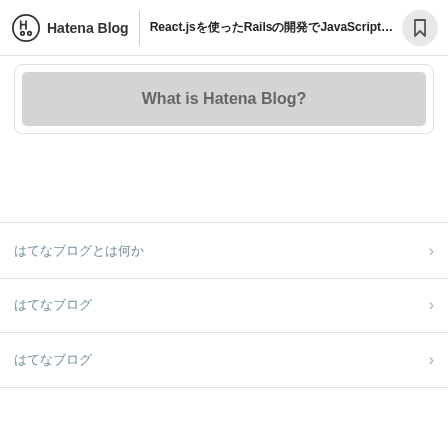Hatena Blog — React.jsを使ったRailsの開発でJavaScriptが書ける…
[Figure (screenshot): What is Hatena Blog? button/card with grey background]
はてなブログとは何か
はてなブログ
はてなブログ